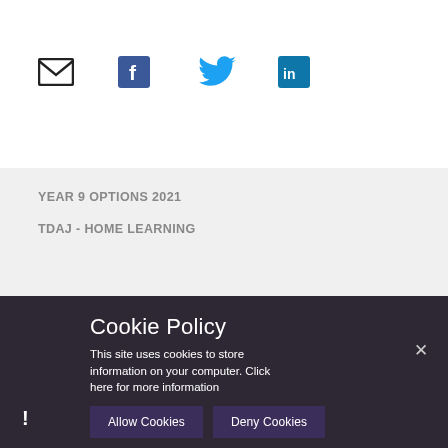[Figure (infographic): Row of social media icons: envelope/email icon (black outline), Facebook logo (blue filled square with f), Twitter bird icon (blue), LinkedIn logo (blue filled square with in)]
YEAR 9 OPTIONS 2021
TDAJ - HOME LEARNING
Cookie Policy
This site uses cookies to store information on your computer. Click here for more information
Allow Cookies   Deny Cookies